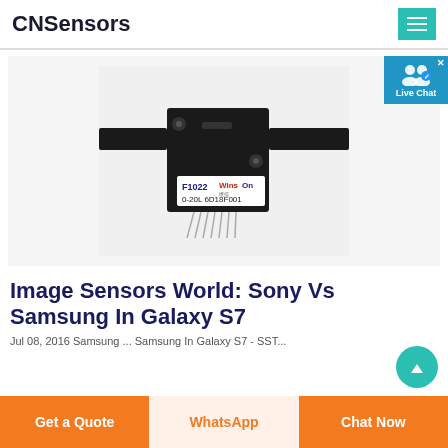CNSensors
[Figure (photo): Black electronic image sensor module with label F1022 WinsOn 0-20L 6D18F001, mounted on a circuit board with pins, on a white background]
Image Sensors World: Sony Vs Samsung In Galaxy S7
Jul 08, 2016 Samsung ... Samsung In Galaxy S7 - SST...